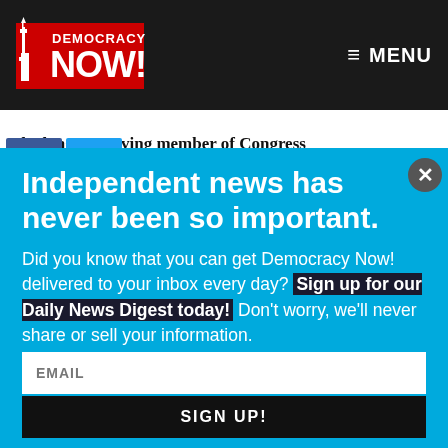[Figure (logo): Democracy Now! logo on dark navbar with MENU button]
The longest-serving member of Congress
Independent news has never been so important.
Did you know that you can get Democracy Now! delivered to your inbox every day? Sign up for our Daily News Digest today! Don't worry, we'll never share or sell your information.
EMAIL
SIGN UP!